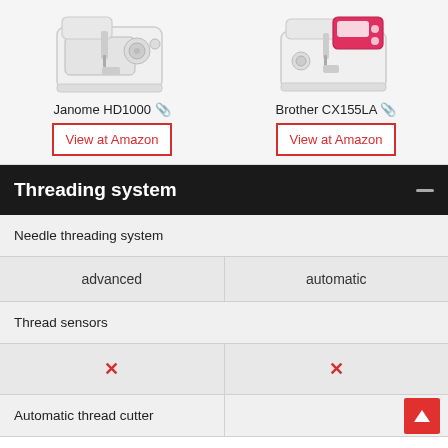[Figure (photo): Janome HD1000 sewing machine product image (white machine)]
[Figure (photo): Brother CX155LA sewing machine product image (white machine with pink/red panel)]
Janome HD1000 🔗
Brother CX155LA 🔗
View at Amazon
View at Amazon
Threading system
|  | Janome HD1000 | Brother CX155LA |
| --- | --- | --- |
| Needle threading system | advanced | automatic |
| Thread sensors | ✗ | ✗ |
| Automatic thread cutter |  |  |